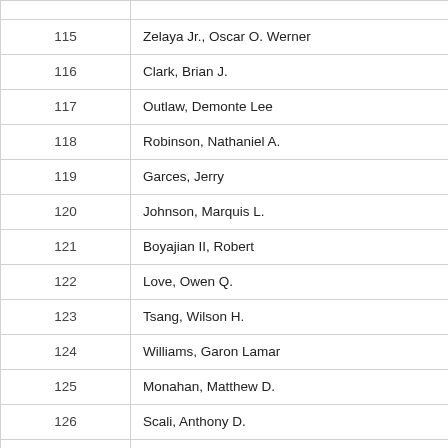|  |  |
| --- | --- |
| 115 | Zelaya Jr., Oscar O. Werner |
| 116 | Clark, Brian J. |
| 117 | Outlaw, Demonte Lee |
| 118 | Robinson, Nathaniel A. |
| 119 | Garces, Jerry |
| 120 | Johnson, Marquis L. |
| 121 | Boyajian II, Robert |
| 122 | Love, Owen Q. |
| 123 | Tsang, Wilson H. |
| 124 | Williams, Garon Lamar |
| 125 | Monahan, Matthew D. |
| 126 | Scali, Anthony D. |
| 127 | Ramos, Eduardo A. |
| 128 | Aguero, Hansel E. |
| 129 | Nooks, Miguel A. |
| 130 | Rubio, Kevin J. |
| 131 | Rogers-Kuczka, Matthew Tyler |
| 132 | Spears, Markes R. |